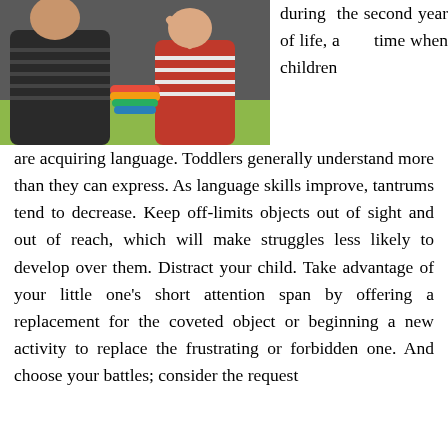[Figure (photo): An adult (appears to be a father) and a toddler playing with a colorful stacking ring toy at a green table.]
during the second year of life, a time when children are acquiring language. Toddlers generally understand more than they can express. As language skills improve, tantrums tend to decrease. Keep off-limits objects out of sight and out of reach, which will make struggles less likely to develop over them. Distract your child. Take advantage of your little one’s short attention span by offering a replacement for the coveted object or beginning a new activity to replace the frustrating or forbidden one. And choose your battles; consider the request